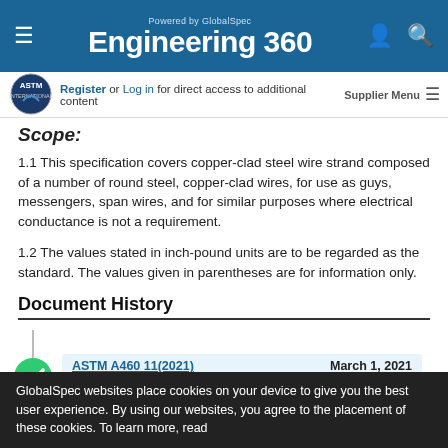Engineering 360 — Powered by GlobalSpec
Register or Log in for direct access to additional content  Supplier Menu
Scope:
1.1 This specification covers copper-clad steel wire strand composed of a number of round steel, copper-clad wires, for use as guys, messengers, span wires, and for similar purposes where electrical conductance is not a requirement.
1.2 The values stated in inch-pound units are to be regarded as the standard. The values given in parentheses are for information only.
Document History
ASTM A460 11(2021)   March 1, 2021
GlobalSpec websites place cookies on your device to give you the best user experience. By using our websites, you agree to the placement of these cookies. To learn more, read